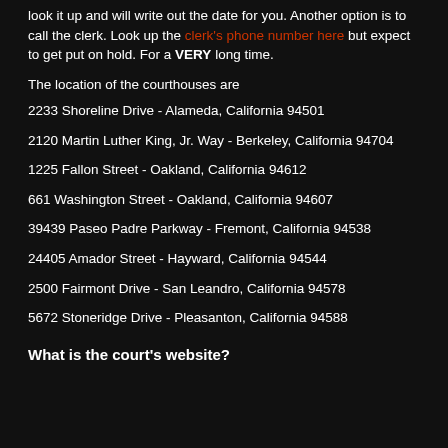look it up and will write out the date for you. Another option is to call the clerk. Look up the clerk's phone number here but expect to get put on hold. For a VERY long time.
The location of the courthouses are
2233 Shoreline Drive - Alameda, California 94501
2120 Martin Luther King, Jr. Way - Berkeley, California 94704
1225 Fallon Street - Oakland, California 94612
661 Washington Street - Oakland, California 94607
39439 Paseo Padre Parkway - Fremont, California 94538
24405 Amador Street - Hayward, California 94544
2500 Fairmont Drive - San Leandro, California 94578
5672 Stoneridge Drive - Pleasanton, California 94588
What is the court's website?